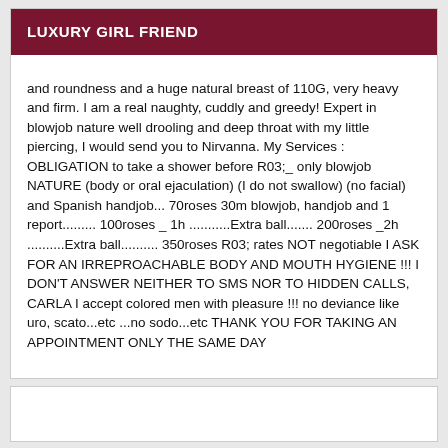LUXURY GIRL FRIEND
and roundness and a huge natural breast of 110G, very heavy and firm. I am a real naughty, cuddly and greedy! Expert in blowjob nature well drooling and deep throat with my little piercing, I would send you to Nirvanna. My Services : OBLIGATION to take a shower before R03;_ only blowjob NATURE (body or oral ejaculation) (I do not swallow) (no facial) and Spanish handjob... 70roses 30m blowjob, handjob and 1 report......... 100roses _ 1h ...........Extra ball....... 200roses _2h ..........Extra ball.......... 350roses R03; rates NOT negotiable I ASK FOR AN IRREPROACHABLE BODY AND MOUTH HYGIENE !!! I DON'T ANSWER NEITHER TO SMS NOR TO HIDDEN CALLS, CARLA I accept colored men with pleasure !!! no deviance like uro, scato...etc ...no sodo...etc THANK YOU FOR TAKING AN APPOINTMENT ONLY THE SAME DAY